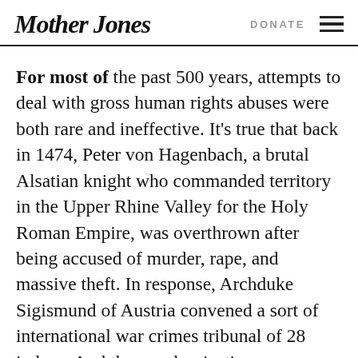Mother Jones | DONATE
For most of the past 500 years, attempts to deal with gross human rights abuses were both rare and ineffective. It’s true that back in 1474, Peter von Hagenbach, a brutal Alsatian knight who commanded territory in the Upper Rhine Valley for the Holy Roman Empire, was overthrown after being accused of murder, rape, and massive theft. In response, Archduke Sigismund of Austria convened a sort of international war crimes tribunal of 28 judges. And the panel, rejecting von Hagenbach’s defense that he was just following orders, had him beheaded for violating “the laws of God and man.” This was the exception, though. Most attempts to